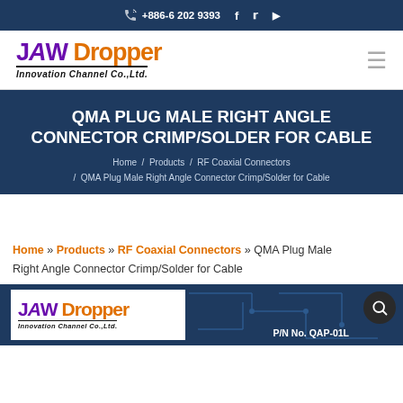+886-6 202 9393
[Figure (logo): JAW Dropper Innovation Channel Co.,Ltd. logo with purple JAW and orange Dropper text]
QMA PLUG MALE RIGHT ANGLE CONNECTOR CRIMP/SOLDER FOR CABLE
Home / Products / RF Coaxial Connectors / QMA Plug Male Right Angle Connector Crimp/Solder for Cable
Home » Products » RF Coaxial Connectors » QMA Plug Male Right Angle Connector Crimp/Solder for Cable
[Figure (photo): JAW Dropper product image with company logo and P/N No. QAP-011 label on dark blue background with circuit board pattern]